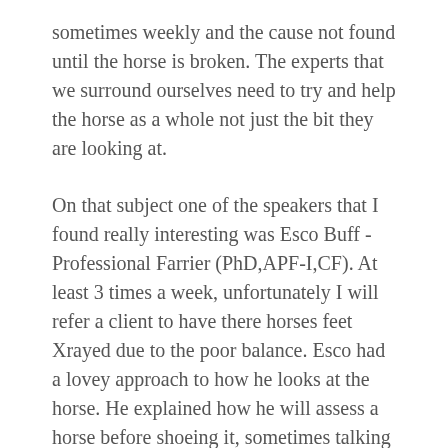sometimes weekly and the cause not found until the horse is broken. The experts that we surround ourselves need to try and help the horse as a whole not just the bit they are looking at.
On that subject one of the speakers that I found really interesting was Esco Buff - Professional Farrier (PhD,APF-I,CF). At least 3 times a week, unfortunately I will refer a client to have there horses feet Xrayed due to the poor balance. Esco had a lovey approach to how he looks at the horse. He explained how he will assess a horse before shoeing it, sometimes talking to the client up to an hour + before getting to put a shoe on the foot.
He explained that to do the job correctly the farrier needs to look at the whole horse not just the foot or the limb, but the whole horse, how it moves, its conformation, the harmony between the parts, the balance. He looks at the whole body and spine of the